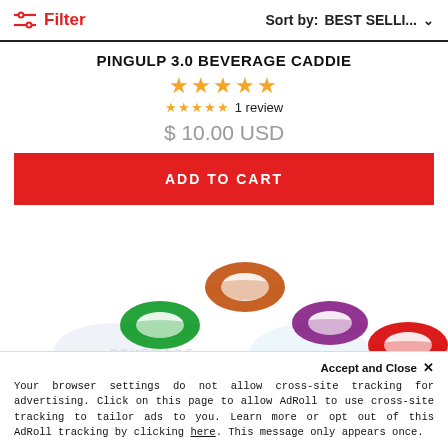Filter   Sort by: BEST SELLI... ▾
PINGULP 3.0 BEVERAGE CADDIE
★★★★★
★★★★★ 1 review
$ 10.00 USD
ADD TO CART
[Figure (photo): Product photo showing colorful rubber ring caddies in orange, green, purple, and red colors]
Accept and Close ✕
Your browser settings do not allow cross-site tracking for advertising. Click on this page to allow AdRoll to use cross-site tracking to tailor ads to you. Learn more or opt out of this AdRoll tracking by clicking here. This message only appears once.